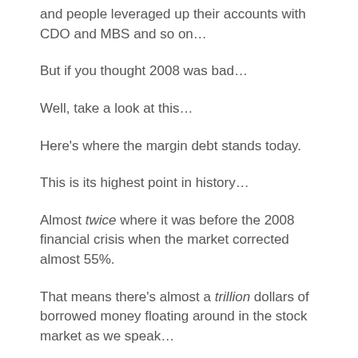and people leveraged up their accounts with CDO and MBS and so on…
But if you thought 2008 was bad…
Well, take a look at this…
Here's where the margin debt stands today.
This is its highest point in history…
Almost twice where it was before the 2008 financial crisis when the market corrected almost 55%.
That means there's almost a trillion dollars of borrowed money floating around in the stock market as we speak…
And that when the next crash comes, it will be one of the